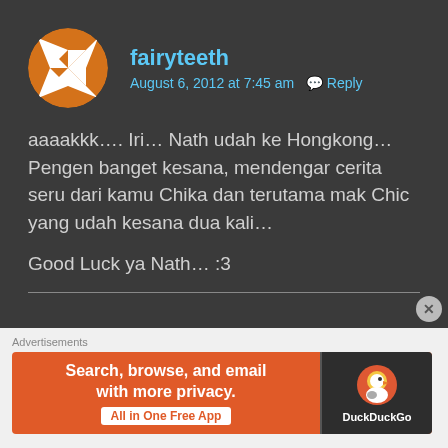[Figure (illustration): Orange and white circular avatar icon with geometric pattern resembling a pinwheel, belonging to user fairyteeth]
fairyteeth
August 6, 2012 at 7:45 am   Reply
aaaakkk…. Iri… Nath udah ke Hongkong… Pengen banget kesana, mendengar cerita seru dari kamu Chika dan terutama mak Chic yang udah kesana dua kali…
Good Luck ya Nath… :3
[Figure (screenshot): DuckDuckGo advertisement banner with text: Search, browse, and email with more privacy. All in One Free App]
Advertisements